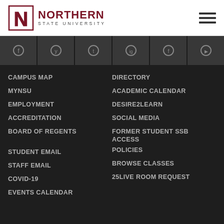[Figure (logo): Northern State University logo with block N and university name]
[Figure (illustration): Hamburger menu icon with three horizontal lines]
[Figure (illustration): Social media icons strip (dark background) showing icons for various platforms]
CAMPUS MAP
DIRECTORY
MYNSU
ACADEMIC CALENDAR
EMPLOYMENT
DESIRE2LEARN
ACCREDITATION
SOCIAL MEDIA
BOARD OF REGENTS
FORMER STUDENT SSB ACCESS
STUDENT EMAIL
POLICIES
STAFF EMAIL
BROWSE CLASSES
COVID-19
25LIVE ROOM REQUEST
EVENTS CALENDAR